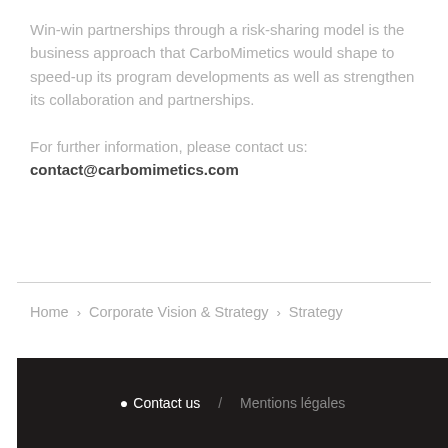Win-win partnerships through a risk-sharing model is the business approach that CarboMimetics would shape to speed-up its program developments as well as strengthen its collaboration and partnerships.
For further information, please contact us:
contact@carbomimetics.com
Home > Corporate Vision & Strategy > Strategy
Contact us / Mentions légales